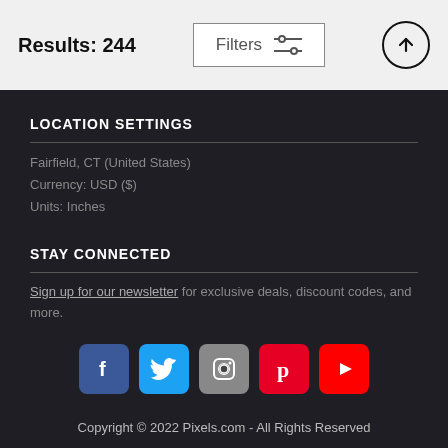Results: 244
Filters
LOCATION SETTINGS
Fairfield, CT (United States)
Currency: USD ($)
Units: Inches
STAY CONNECTED
Sign up for our newsletter for exclusive deals, discount codes, and more.
[Figure (infographic): Social media icons: Facebook, Twitter, Instagram, Pinterest, YouTube]
Copyright © 2022 Pixels.com - All Rights Reserved